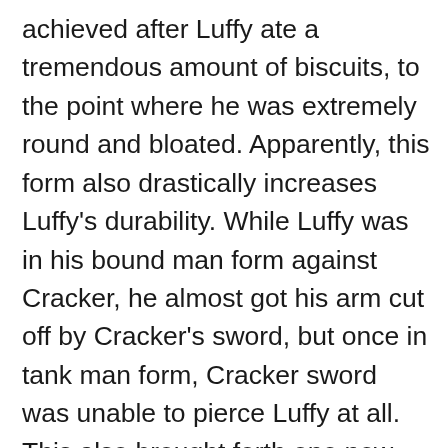achieved after Luffy ate a tremendous amount of biscuits, to the point where he was extremely round and bloated. Apparently, this form also drastically increases Luffy's durability. While Luffy was in his bound man form against Cracker, he almost got his arm cut off by Cracker's sword, but once in tank man form, Cracker sword was unable to pierce Luffy at all. This also brought forth one new technique called the Gum Gum cannonball, which is where Luffy compresses his stomach - along with sucking the enemy into his compression - and then launches them a great distance away with a tremendous amount of power and speed. This concludes all of Luffy's devil fruit abilities, making it now the time to look at his notable relationships, connections, and